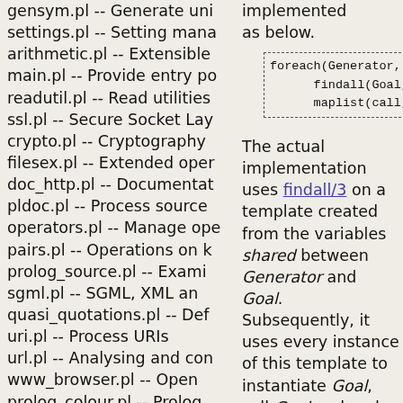gensym.pl -- Generate uni
settings.pl -- Setting mana
arithmetic.pl -- Extensible
main.pl -- Provide entry p
readutil.pl -- Read utilities
ssl.pl -- Secure Socket Lay
crypto.pl -- Cryptography
filesex.pl -- Extended ope
doc_http.pl -- Documentat
pldoc.pl -- Process source
operators.pl -- Manage op
pairs.pl -- Operations on k
prolog_source.pl -- Exami
sgml.pl -- SGML, XML a
quasi_quotations.pl -- Def
uri.pl -- Process URIs
url.pl -- Analysing and co
www_browser.pl -- Open
prolog_colour.pl -- Prolog
record.pl -- Access compo
prolog_xref.pl -- Prolog c
occurs.pl -- Finding and c
ordsets.pl -- Ordered set m
assoc.pl -- Binary associat
ugraphs.pl -- Graph manip
implemented as below.
[Figure (screenshot): Code box with dashed border showing: foreach(Generator, findall(Goal, maplist(call,]
The actual implementation uses findall/3 on a template created from the variables shared between Generator and Goal. Subsequently, it uses every instance of this template to instantiate Goal, call Goal and undo only the